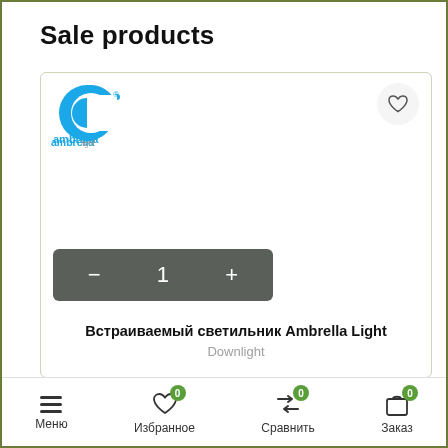Sale products
[Figure (screenshot): Product card showing Ambrella Light logo, a heart/wishlist button, a quantity selector bar with minus, 1, plus buttons, and product name 'Встраиваемый светильник Ambrella Light' with subtitle 'Downlight']
Меню   Избранное 0   Сравнить 0   Заказ 0